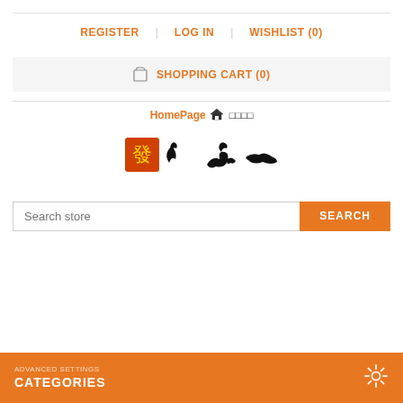REGISTER   LOG IN   WISHLIST (0)
SHOPPING CART (0)
HomePage 🏠 □□□□
[Figure (logo): Orange/red square logo with Chinese character, and several small animal/figure icons]
Search store
CATEGORIES